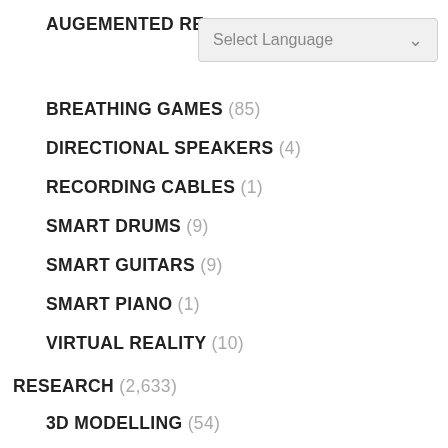AUGEMENTED RE...
BREATHING GAMES (85)
DIRECTIONAL SPEAKERS (4)
RECORDING CABLES (1)
SMART DRUMS (9)
SMART GUITARS (9)
SMART PIANO (1)
VIRTUAL REALITY (10)
RESEARCH (2,633)
3D MODELLING (54)
3D PRINTING (188)
ACOUSTICS & DSP (588)
DATA MANAGEMENT (594)